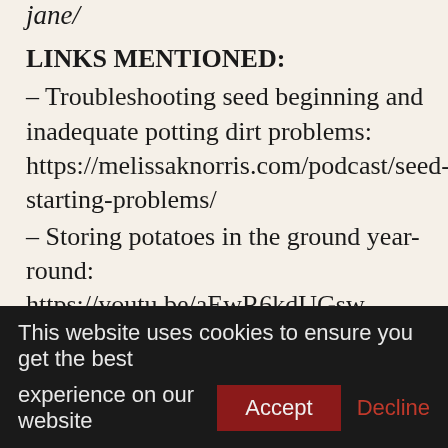jane/
LINKS MENTIONED:
– Troubleshooting seed beginning and inadequate potting dirt problems: https://melissaknorris.com/podcast/seed-starting-problems/
– Storing potatoes in the ground year-round: https://youtu.be/aEwR6kdUGsw
– How to plant and also expand potatoes: https://melissaknorris.com/pioneering-today-how-to-plant-and-grow-potatoes/
– Get your FREE seasonal regular monthly
This website uses cookies to ensure you get the best experience on our website  Accept  Decline